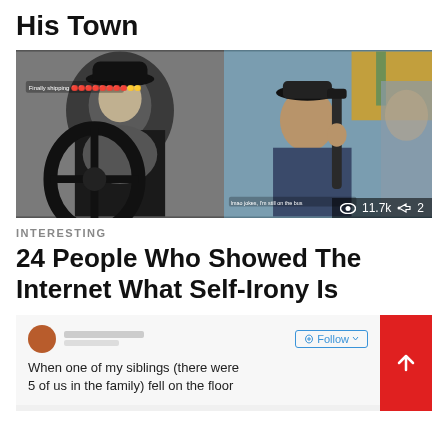His Town
[Figure (photo): Two side-by-side snapchat screenshots of a young man. Left is black-and-white showing him near a steering wheel with text overlay. Right is color showing him on a bus. View count shows 11.7k and share count 2.]
INTERESTING
24 People Who Showed The Internet What Self-Irony Is
[Figure (screenshot): Screenshot of a tweet: user with brown avatar, Follow button visible. Text reads: When one of my siblings (there were 5 of us in the family) fell on the floor. Red scroll-to-top button on right.]